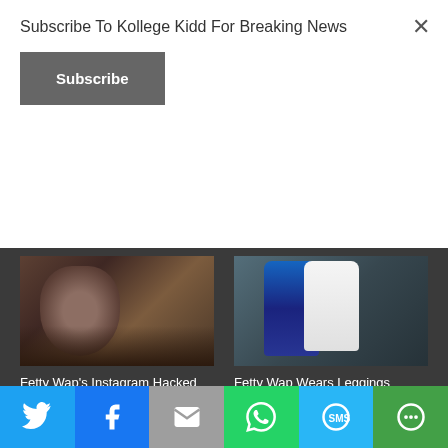Subscribe To Kollege Kidd For Breaking News
Subscribe
[Figure (photo): Photo of Fetty Wap close-up portrait with dreadlocks]
Fetty Wap's Instagram Hacked After Addressing Criticism Of His Fake Dreads
[Figure (photo): Photo of Fetty Wap wearing leggings]
Fetty Wap Wears Leggings
[Figure (photo): Photo of Fetty Wap bottom left]
[Figure (photo): Photo of Fetty Wap bottom right with red headband]
Twitter | Facebook | Email | WhatsApp | SMS | More